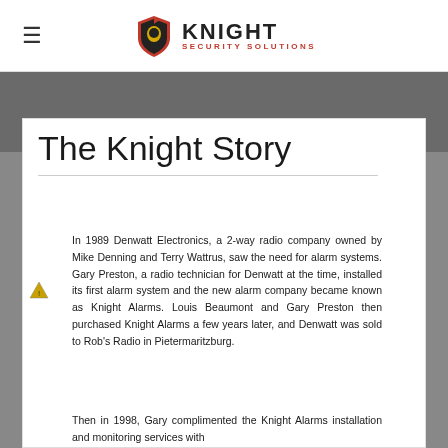Knight Security Solutions
The Knight Story
In 1989 Denwatt Electronics, a 2-way radio company owned by Mike Denning and Terry Wattrus, saw the need for alarm systems. Gary Preston, a radio technician for Denwatt at the time, installed its first alarm system and the new alarm company became known as Knight Alarms. Louis Beaumont and Gary Preston then purchased Knight Alarms a few years later, and Denwatt was sold to Rob's Radio in Pietermaritzburg.
Then in 1998, Gary complimented the Knight Alarms installation and monitoring services with